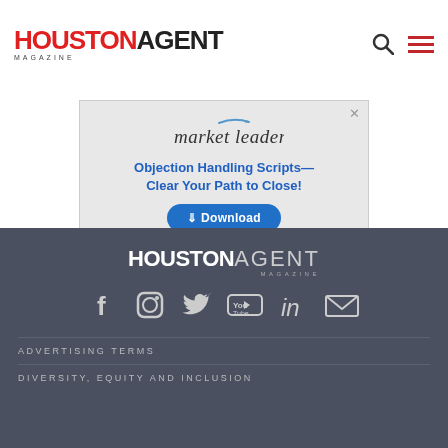HOUSTON AGENT MAGAZINE
[Figure (other): Advertisement banner for Market Leader: 'Objection Handling Scripts—Clear Your Path to Close!' with Download button]
[Figure (logo): Houston Agent Magazine footer logo in white on dark background]
[Figure (infographic): Social media icons row: Facebook, Instagram, Twitter, YouTube, LinkedIn, Email]
ADVERTISING TERMS
DIVERSITY, EQUITY AND INCLUSION